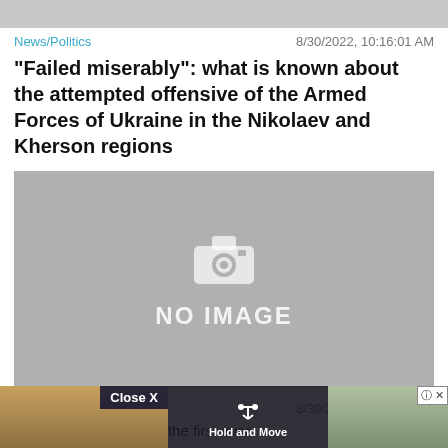[Figure (other): Top gray bar placeholder]
News/Politics    8/30/2022, 10:16:01 AM
“Failed miserably”: what is known about the attempted offensive of the Armed Forces of Ukraine in the Nikolaev and Kherson regions
[Figure (photo): No image placeholder with camera icon and text NO IMAGE]
News/Politics    8/30/2022, 12:09:16 AM
"You don't..." becomes the first ever...
[Figure (screenshot): Bottom strip showing Hold and Move overlay on left photo and winter trees on right, with Close X button]